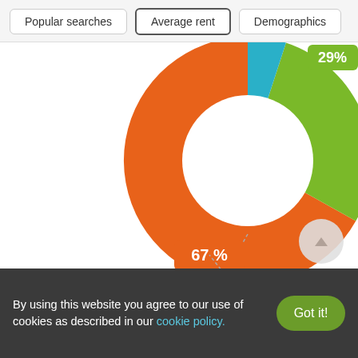Popular searches | Average rent | Demographics
[Figure (donut-chart): Donut chart with percentage labels]
By using this website you agree to our use of cookies as described in our cookie policy.